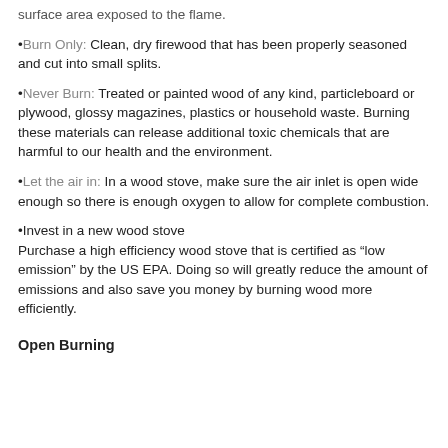surface area exposed to the flame.
Burn Only: Clean, dry firewood that has been properly seasoned and cut into small splits.
Never Burn: Treated or painted wood of any kind, particleboard or plywood, glossy magazines, plastics or household waste. Burning these materials can release additional toxic chemicals that are harmful to our health and the environment.
Let the air in: In a wood stove, make sure the air inlet is open wide enough so there is enough oxygen to allow for complete combustion.
Invest in a new wood stove
Purchase a high efficiency wood stove that is certified as “low emission” by the US EPA. Doing so will greatly reduce the amount of emissions and also save you money by burning wood more efficiently.
Open Burning